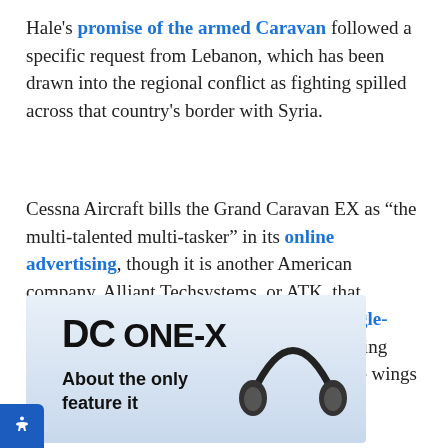Hale's promise of the armed Caravan followed a specific request from Lebanon, which has been drawn into the regional conflict as fighting spilled across that country's border with Syria.
Cessna Aircraft bills the Grand Caravan EX as “the multi-talented multi-tasker” in its online advertising, though it is another American company, Alliant Techsystems, or ATK, that devised modifications to transform the single-engine turboprop into a lethal weapon, adding sensor equipment and hard mounts under the wings able to carry Hellfire missiles.
[Figure (other): Advertisement banner for DC ONE-X headphones. Shows 'DC ONE-X' logo text in bold black on a light blue gradient background, with text 'About the only feature it' and a partial image of headphones on the right side.]